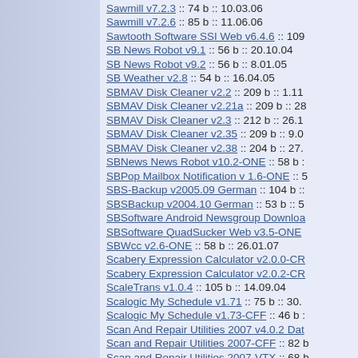Sawmill v7.2.3 :: 74 b :: 10.03.06
Sawmill v7.2.6 :: 85 b :: 11.06.06
Sawtooth Software SSI Web v6.4.6 :: 109
SB News Robot v9.1 :: 56 b :: 20.10.04
SB News Robot v9.2 :: 56 b :: 8.01.05
SB Weather v2.8 :: 54 b :: 16.04.05
SBMAV Disk Cleaner v2.2 :: 209 b :: 1.11
SBMAV Disk Cleaner v2.21a :: 209 b :: 28
SBMAV Disk Cleaner v2.3 :: 212 b :: 26.1
SBMAV Disk Cleaner v2.35 :: 209 b :: 9.0
SBMAV Disk Cleaner v2.38 :: 204 b :: 27.
SBNews News Robot v10.2-ONE :: 58 b ::
SBPop Mailbox Notification v 1.6-ONE ::
SBS-Backup v2005.09 German :: 104 b ::
SBSBackup v2004.10 German :: 53 b :: 5
SBSoftware Android Newsgroup Download
SBSoftware QuadSucker Web v3.5-ONE
SBWcc v2.6-ONE :: 58 b :: 26.01.07
Scabery Expression Calculator v2.0.0-CR
Scabery Expression Calculator v2.0.2-CR
ScaleTrans v1.0.4 :: 105 b :: 14.09.04
Scalogic My Schedule v1.71 :: 75 b :: 30.
Scalogic My Schedule v1.73-CFF :: 46 b ::
Scan And Repair Utilities 2007 v4.0.2 Dat
Scan and Repair Utilities 2007-CFF :: 82 b
Scan and Repair Utilities 2007-VTX :: 68 b
Scan and Sort It Pro v5.0.3c :: 51 b :: 12.0